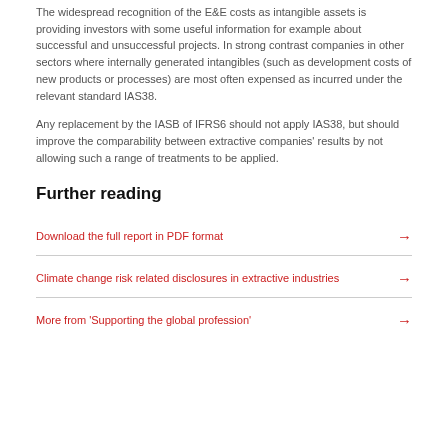The widespread recognition of the E&E costs as intangible assets is providing investors with some useful information for example about successful and unsuccessful projects. In strong contrast companies in other sectors where internally generated intangibles (such as development costs of new products or processes) are most often expensed as incurred under the relevant standard IAS38.
Any replacement by the IASB of IFRS6 should not apply IAS38, but should improve the comparability between extractive companies' results by not allowing such a range of treatments to be applied.
Further reading
Download the full report in PDF format
Climate change risk related disclosures in extractive industries
More from 'Supporting the global profession'